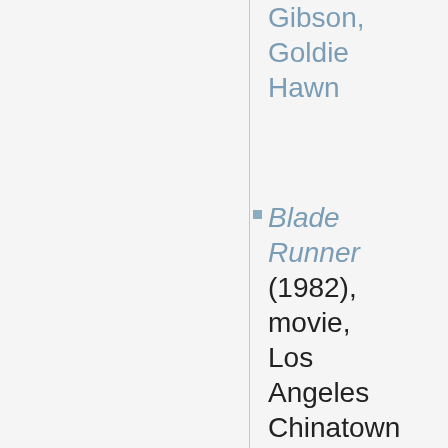Gibson, Goldie Hawn
Blade Runner (1982), movie, Los Angeles Chinatown of 2019, Harrison Ford, Sean Young